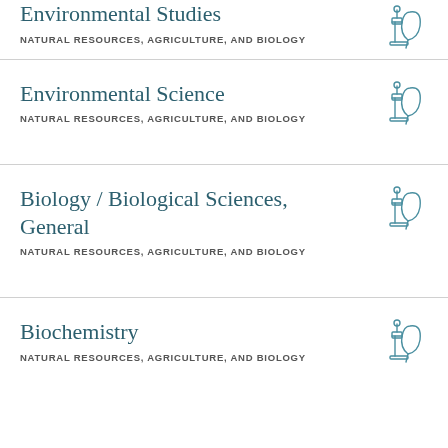Environmental Studies
NATURAL RESOURCES, AGRICULTURE, AND BIOLOGY
Environmental Science
NATURAL RESOURCES, AGRICULTURE, AND BIOLOGY
Biology / Biological Sciences, General
NATURAL RESOURCES, AGRICULTURE, AND BIOLOGY
Biochemistry
NATURAL RESOURCES, AGRICULTURE, AND BIOLOGY